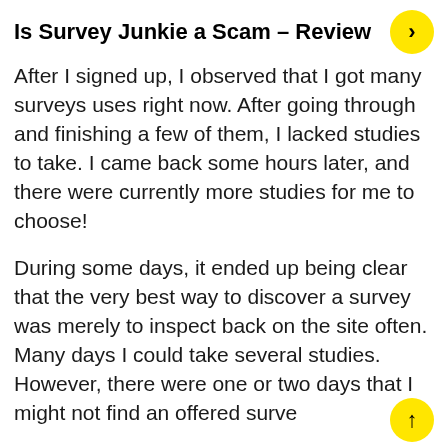Is Survey Junkie a Scam – Review
After I signed up, I observed that I got many surveys uses right now. After going through and finishing a few of them, I lacked studies to take. I came back some hours later, and there were currently more studies for me to choose!
During some days, it ended up being clear that the very best way to discover a survey was merely to inspect back on the site often. Many days I could take several studies. However, there were one or two days that I might not find an offered surve